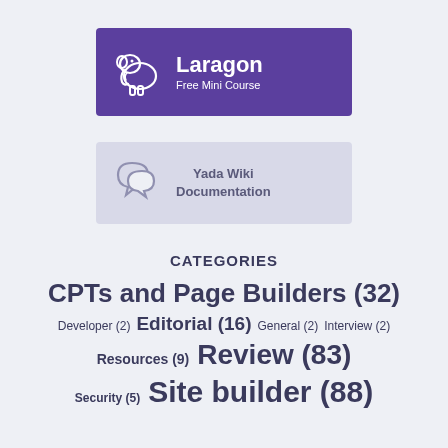[Figure (logo): Laragon Free Mini Course banner with purple background, white elephant icon, bold white text 'Laragon' and subtitle 'Free Mini Course']
[Figure (logo): Yada Wiki Documentation banner with light lavender background, two speech bubble icons, and text 'Yada Wiki Documentation']
CATEGORIES
CPTs and Page Builders (32)
Developer (2) Editorial (16) General (2) Interview (2)
Resources (9) Review (83)
Security (5) Site builder (88)